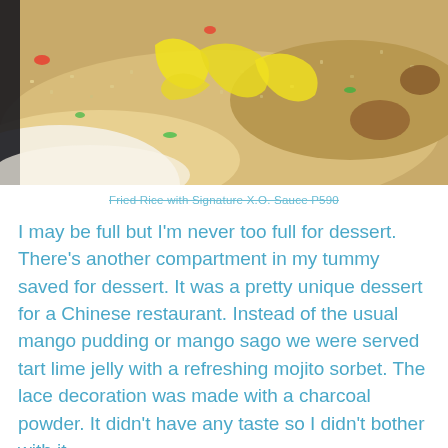[Figure (photo): Close-up photo of fried rice with yellow egg strips, green onions, and red peppers on a white plate, with X.O. sauce]
Fried Rice with Signature X.O. Sauce P590
I may be full but I'm never too full for dessert. There's another compartment in my tummy saved for dessert. It was a pretty unique dessert for a Chinese restaurant. Instead of the usual mango pudding or mango sago we were served tart lime jelly with a refreshing mojito sorbet. The lace decoration was made with a charcoal powder. It didn't have any taste so I didn't bother with it.